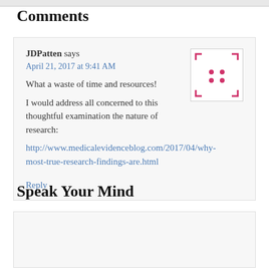Comments
JDPatten says
April 21, 2017 at 9:41 AM
What a waste of time and resources!
I would address all concerned to this thoughtful examination the nature of research:
http://www.medicalevidenceblog.com/2017/04/why-most-true-research-findings-are.html
Reply
Speak Your Mind